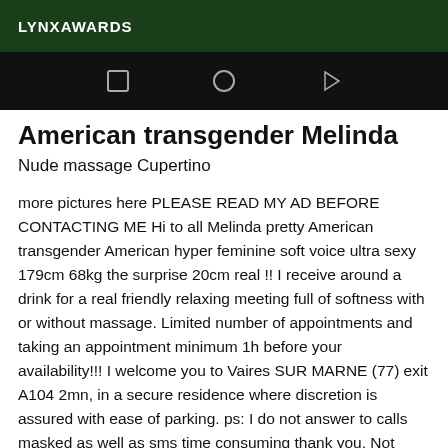LYNXAWARDS
[Figure (screenshot): Mobile navigation bar with square, circle, and play button icons on black background]
American transgender Melinda
Nude massage Cupertino
more pictures here PLEASE READ MY AD BEFORE CONTACTING ME Hi to all Melinda pretty American transgender American hyper feminine soft voice ultra sexy 179cm 68kg the surprise 20cm real !! I receive around a drink for a real friendly relaxing meeting full of softness with or without massage. Limited number of appointments and taking an appointment minimum 1h before your availability!!! I welcome you to Vaires SUR MARNE (77) exit A104 2mn, in a secure residence where discretion is assured with ease of parking. ps: I do not answer to calls masked as well as sms time consuming thank you. Not serious to abstain I systematically block people disrespectful and not